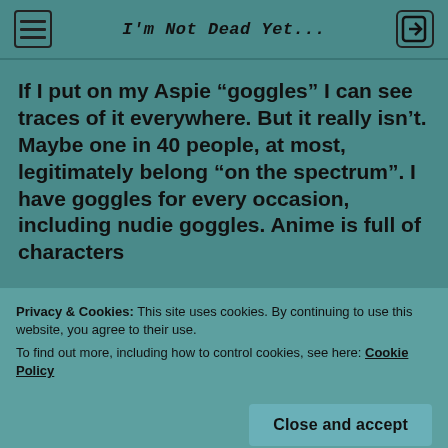I'm Not Dead Yet...
If I put on my Aspie “goggles” I can see traces of it everywhere. But it really isn’t. Maybe one in 40 people, at most, legitimately belong “on the spectrum”. I have goggles for every occasion, including nudie goggles. Anime is full of characters
Privacy & Cookies: This site uses cookies. By continuing to use this website, you agree to their use.
To find out more, including how to control cookies, see here: Cookie Policy
My behaviour was written off as being stupid